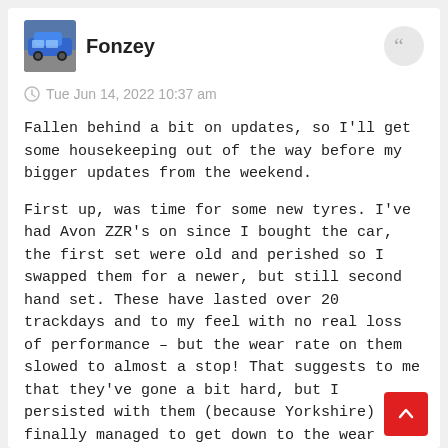Fonzey
Tue Jun 14, 2022 10:37 am
Fallen behind a bit on updates, so I'll get some housekeeping out of the way before my bigger updates from the weekend.
First up, was time for some new tyres. I've had Avon ZZR's on since I bought the car, the first set were old and perished so I swapped them for a newer, but still second hand set. These have lasted over 20 trackdays and to my feel with no real loss of performance – but the wear rate on them slowed to almost a stop! That suggests to me that they've gone a bit hard, but I persisted with them (because Yorkshire) and finally managed to get down to the wear markers on the inside of the rears.
Tyre choice right now is very limited, almost anything